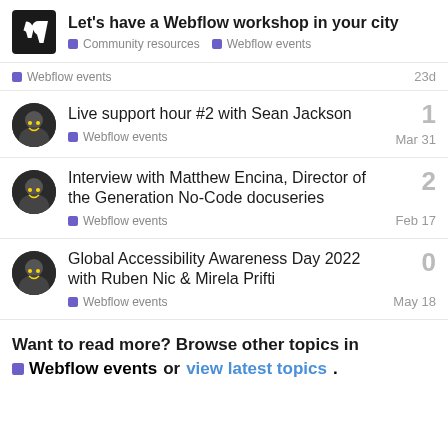Let's have a Webflow workshop in your city — Community resources · Webflow events
Webflow events — 23d
Live support hour #2 with Sean Jackson — Webflow events — Mar 31 — 1 reply
Interview with Matthew Encina, Director of the Generation No-Code docuseries — Webflow events — Feb 17 — 2 replies
Global Accessibility Awareness Day 2022 with Ruben Nic & Mirela Prifti — Webflow events — May 18 — 0 replies
Want to read more? Browse other topics in Webflow events or view latest topics.